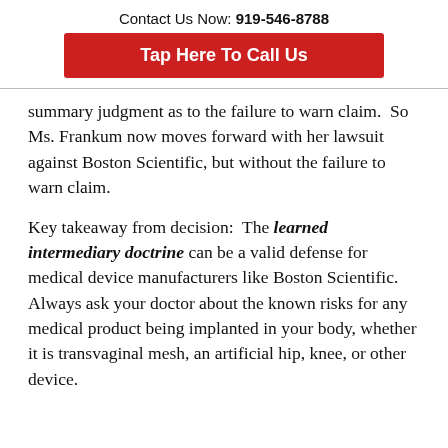Contact Us Now: 919-546-8788
Tap Here To Call Us
summary judgment as to the failure to warn claim.  So Ms. Frankum now moves forward with her lawsuit against Boston Scientific, but without the failure to warn claim.
Key takeaway from decision:  The learned intermediary doctrine can be a valid defense for medical device manufacturers like Boston Scientific.  Always ask your doctor about the known risks for any medical product being implanted in your body, whether it is transvaginal mesh, an artificial hip, knee, or other device.